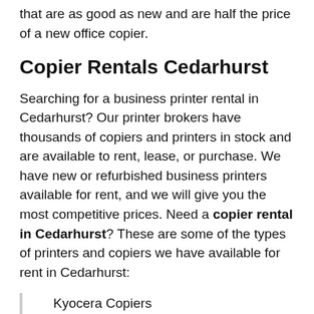that are as good as new and are half the price of a new office copier.
Copier Rentals Cedarhurst
Searching for a business printer rental in Cedarhurst? Our printer brokers have thousands of copiers and printers in stock and are available to rent, lease, or purchase. We have new or refurbished business printers available for rent, and we will give you the most competitive prices. Need a copier rental in Cedarhurst? These are some of the types of printers and copiers we have available for rent in Cedarhurst:
Kyocera Copiers
Brother Copiers
Sharp Copiers
Ricoh Copiers